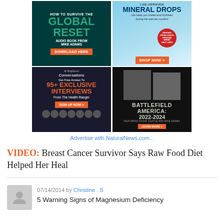[Figure (infographic): 2x2 grid of advertisement banners: (1) How to Survive the Global Reset audiobook by Mike Adams, dark teal background with orange download button; (2) Lab-Verified Mineral Drops with blue water background and orange Shop Now button; (3) Brighteon Conversations 95+ Exclusive Interviews from The Health Ranger with Sign Up Now button; (4) Battlefield America 2022-2024 featuring Steve Quayle and Mike Adams with Learn More button]
Advertise with NaturalNews.com...
VIDEO: Breast Cancer Survivor Says Raw Food Diet Helped Her Heal
07/14/2014 by Christine . S
5 Warning Signs of Magnesium Deficiency